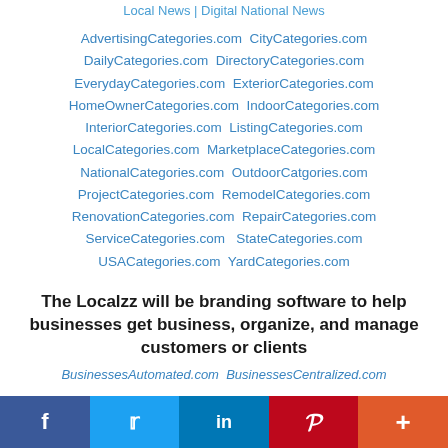Local News | Digital National News
AdvertisingCategories.com  CityCategories.com  DailyCategories.com  DirectoryCategories.com  EverydayCategories.com  ExteriorCategories.com  HomeOwnerCategories.com  IndoorCategories.com  InteriorCategories.com  ListingCategories.com  LocalCategories.com  MarketplaceCategories.com  NationalCategories.com  OutdoorCatgories.com  ProjectCategories.com  RemodelCategories.com  RenovationCategories.com  RepairCategories.com  ServiceCategories.com  StateCategories.com  USACategories.com  YardCategories.com
The Localzz will be branding software to help businesses get business, organize, and manage customers or clients
BusinessesAutomated.com  BusinessesCentralized.com